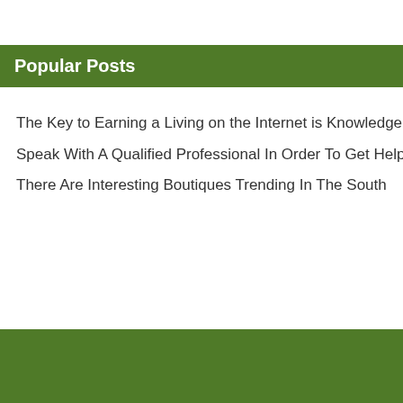Popular Posts
The Key to Earning a Living on the Internet is Knowledge
Speak With A Qualified Professional In Order To Get Help With Your Concrete Issues
There Are Interesting Boutiques Trending In The South
« The Best Adv… Ever Written
Comments are cl…